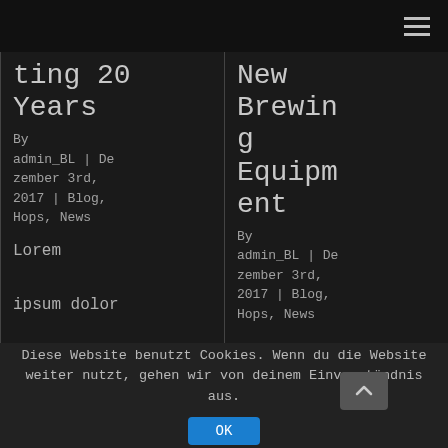≡
ting 20 Years
By admin_BL | Dezember 3rd, 2017 | Blog, Hops, News
Lorem ipsum dolor sit amet,
New Brewing Equipment
By admin_BL | Dezember 3rd, 2017 | Blog, Hops, News
Diese Website benutzt Cookies. Wenn du die Website weiter nutzt, gehen wir von deinem Einverständnis aus.
OK